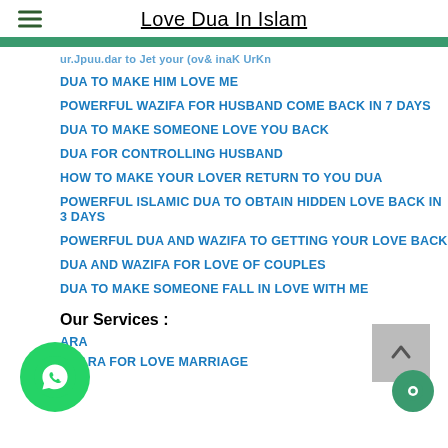Love Dua In Islam
DUA TO MAKE HIM LOVE ME
POWERFUL WAZIFA FOR HUSBAND COME BACK IN 7 DAYS
DUA TO MAKE SOMEONE LOVE YOU BACK
DUA FOR CONTROLLING HUSBAND
HOW TO MAKE YOUR LOVER RETURN TO YOU DUA
POWERFUL ISLAMIC DUA TO OBTAIN HIDDEN LOVE BACK IN 3 DAYS
POWERFUL DUA AND WAZIFA TO GETTING YOUR LOVE BACK
DUA AND WAZIFA FOR LOVE OF COUPLES
DUA TO MAKE SOMEONE FALL IN LOVE WITH ME
Our Services :
ARA
KHARA FOR LOVE MARRIAGE